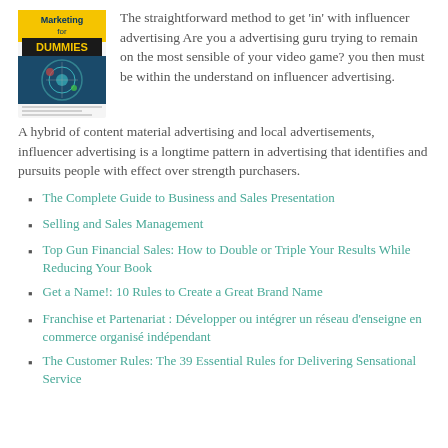[Figure (illustration): Book cover of 'Marketing for Dummies' with yellow and blue design]
The straightforward method to get 'in' with influencer advertising Are you a advertising guru trying to remain on the most sensible of your video game? you then must be within the understand on influencer advertising. A hybrid of content material advertising and local advertisements, influencer advertising is a longtime pattern in advertising that identifies and pursuits people with effect over strength purchasers.
The Complete Guide to Business and Sales Presentation
Selling and Sales Management
Top Gun Financial Sales: How to Double or Triple Your Results While Reducing Your Book
Get a Name!: 10 Rules to Create a Great Brand Name
Franchise et Partenariat : Développer ou intégrer un réseau d'enseigne en commerce organisé indépendant
The Customer Rules: The 39 Essential Rules for Delivering Sensational Service